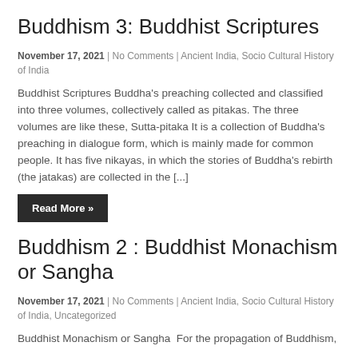Buddhism 3: Buddhist Scriptures
November 17, 2021  |  No Comments  |  Ancient India, Socio Cultural History of India
Buddhist Scriptures Buddha's preaching collected and classified into three volumes, collectively called as pitakas. The three volumes are like these, Sutta-pitaka It is a collection of Buddha's preaching in dialogue form, which is mainly made for common people. It has five nikayas, in which the stories of Buddha's rebirth (the jatakas) are collected in the [...]
Read More »
Buddhism 2 : Buddhist Monachism or Sangha
November 17, 2021  |  No Comments  |  Ancient India, Socio Cultural History of India, Uncategorized
Buddhist Monachism or Sangha  For the propagation of Buddhism,